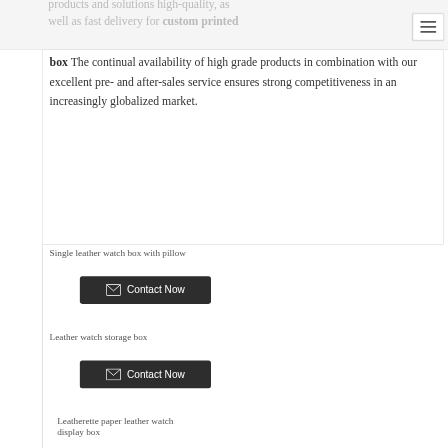products and solutions high-quality, as well as fast delivery for custom printed box The continual availability of high grade products in combination with our excellent pre- and after-sales service ensures strong competitiveness in an increasingly globalized market.
Single leather watch box with pillow
Contact Now
Leather watch storage box
Contact Now
Leatherette paper leather watch display box